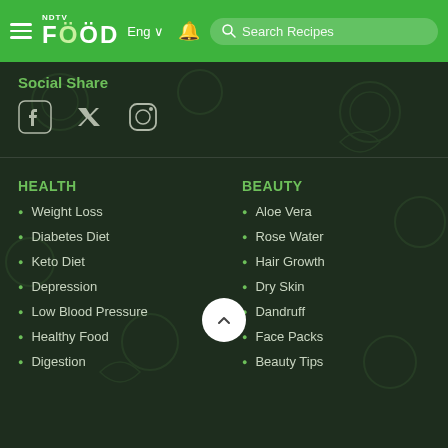NDTV FOOD | Eng | Search Recipes
Social Share
[Figure (other): Social media icons: Facebook, Twitter, Instagram]
HEALTH
Weight Loss
Diabetes Diet
Keto Diet
Depression
Low Blood Pressure
Healthy Food
Digestion
BEAUTY
Aloe Vera
Rose Water
Hair Growth
Dry Skin
Dandruff
Face Packs
Beauty Tips